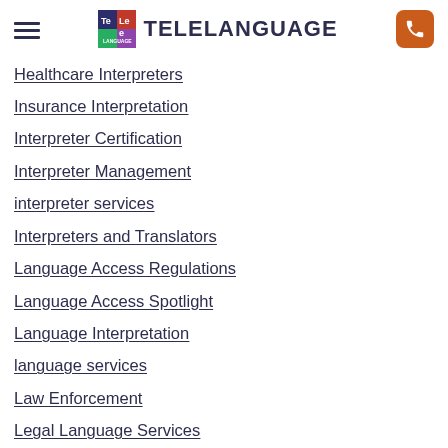TELELANGUAGE
Healthcare Interpreters
Insurance Interpretation
Interpreter Certification
Interpreter Management
interpreter services
Interpreters and Translators
Language Access Regulations
Language Access Spotlight
Language Interpretation
language services
Law Enforcement
Legal Language Services
Limited English Proficiency